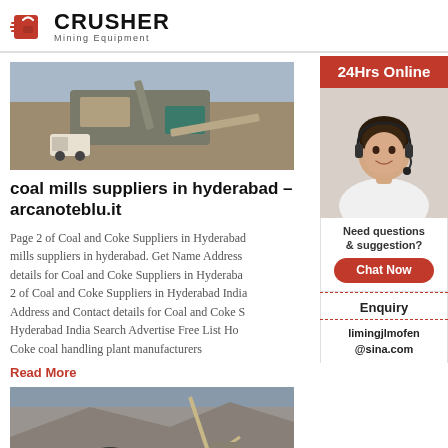CRUSHER Mining Equipment
[Figure (photo): Aerial view of a mining crusher machine and equipment on a construction/mining site with a truck nearby]
coal mills suppliers in hyderabad – arcanoteblu.it
Page 2 of Coal and Coke Suppliers in Hyderabad coal mills suppliers in hyderabad. Get Name Address details for Coal and Coke Suppliers in Hyderabad 2 of Coal and Coke Suppliers in Hyderabad India Address and Contact details for Coal and Coke Suppliers Hyderabad India Search Advertise Free List Home Coke coal handling plant manufacturers
Read More
[Figure (photo): Mining excavation site with large machinery and a tunnel entrance carved into a rocky mountain]
[Figure (photo): Customer service representative woman with headset smiling, sidebar 24Hrs Online contact widget]
24Hrs Online
Need questions & suggestion?
Chat Now
Enquiry
limingjlmofen@sina.com